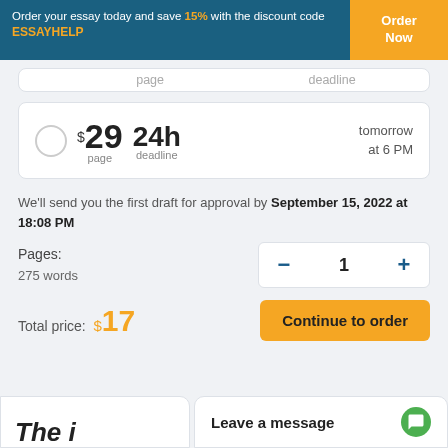Order your essay today and save 15% with the discount code ESSAYHELP | Order Now
$29 page | 24h deadline | tomorrow at 6 PM
We'll send you the first draft for approval by September 15, 2022 at 18:08 PM
Pages:
275 words
Total price: $17
Continue to order
Leave a message